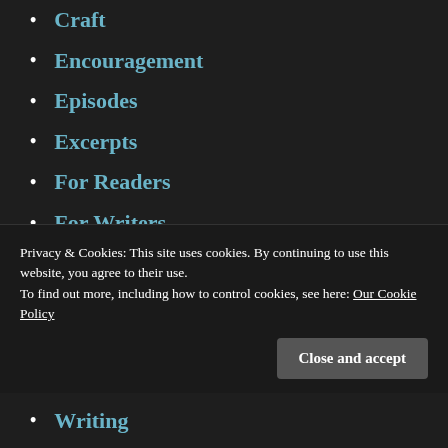Craft
Encouragement
Episodes
Excerpts
For Readers
For Writers
Freedom
Guest Post
News
Pre-Release
Public Service Announcement
Privacy & Cookies: This site uses cookies. By continuing to use this website, you agree to their use.
To find out more, including how to control cookies, see here: Our Cookie Policy
Writing